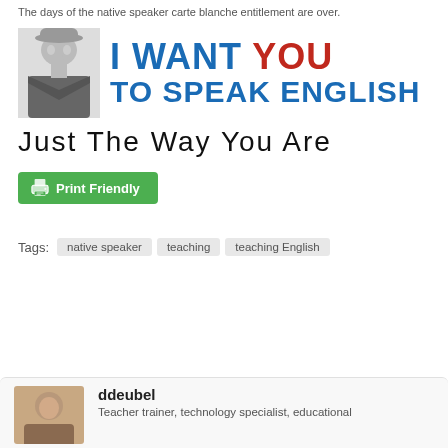The days of the native speaker carte blanche entitlement are over.
[Figure (infographic): Meme-style image with a young man in a hat on the left and bold text reading 'I WANT YOU TO SPEAK ENGLISH' where YOU is in red and the rest in blue]
Just The Way You Are
Print Friendly
Tags: native speaker  teaching  teaching English
ddeubel
Teacher trainer, technology specialist, educational